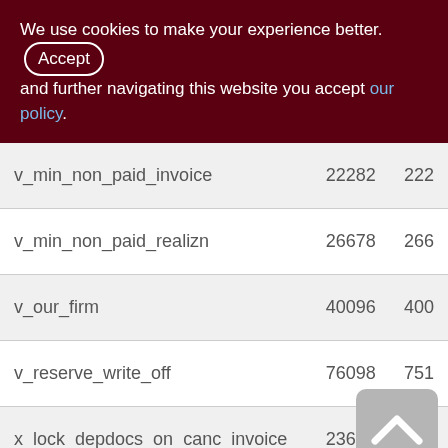We use cookies to make your experience better. By accepting and further navigating this website you accept our policy.
| Name | Col1 | Col2 |
| --- | --- | --- |
| v_min_non_paid_invoice | 22282 | 222 |
| v_min_non_paid_realizn | 26678 | 266 |
| v_our_firm | 40096 | 400 |
| v_reserve_write_off | 76098 | 751 |
| x_lock_depdocs_on_canc_invoice | 23616 | 124 |
| x_lock_depdocs_on_canc_sup_ord | 1546 | 5 |